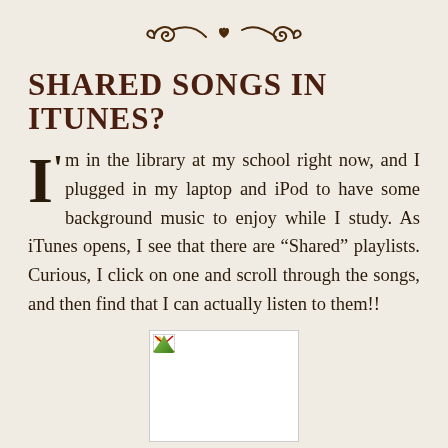[Figure (illustration): Decorative ornamental divider with scrollwork and a small heart/flower motif in the center]
SHARED SONGS IN ITUNES?
I'm in the library at my school right now, and I plugged in my laptop and iPod to have some background music to enjoy while I study. As iTunes opens, I see that there are “Shared” playlists. Curious, I click on one and scroll through the songs, and then find that I can actually listen to them!!
[Figure (photo): A broken/missing image placeholder (white rectangle with small broken image icon)]